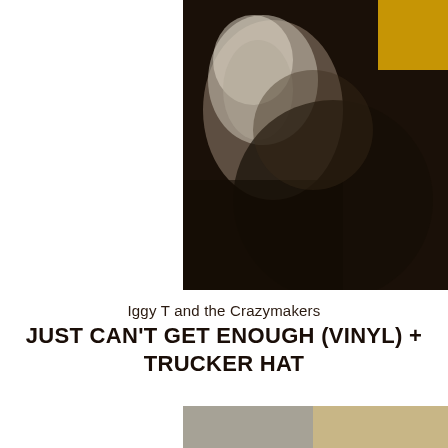[Figure (photo): Blurry dark album cover photo with a white/grey blurred figure on left and yellow/gold element in the top-right corner, dark brown/black background]
Iggy T and the Crazymakers
JUST CAN'T GET ENOUGH (VINYL) + TRUCKER HAT
[Figure (photo): Partial second album cover image, grey and tan/gold tones, visible at bottom of page]